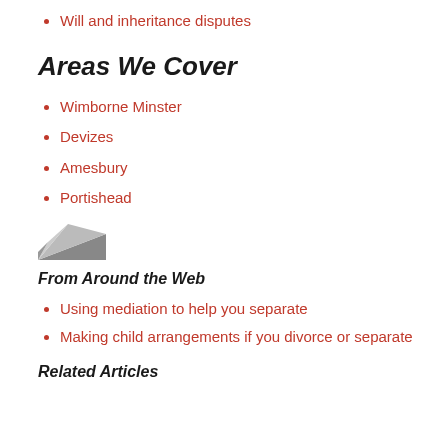Will and inheritance disputes
Areas We Cover
Wimborne Minster
Devizes
Amesbury
Portishead
[Figure (logo): A small triangular logo in grey and dark tones]
From Around the Web
Using mediation to help you separate
Making child arrangements if you divorce or separate
Related Articles